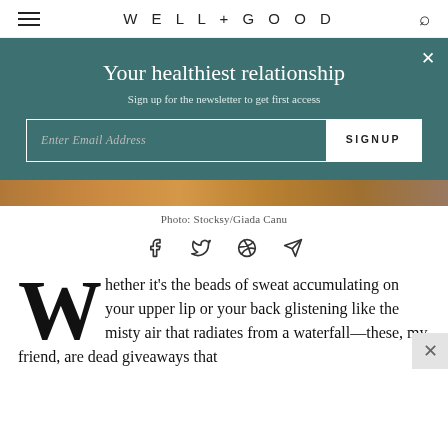WELL+GOOD
[Figure (screenshot): Newsletter signup overlay on Well+Good website with teal background, headline 'Your healthiest relationship', subtext 'Sign up for the newsletter to get first access', email input field and SIGNUP button, close X button in top right]
Photo: Stocksy/Giada Canu
[Figure (other): Social sharing icons row: Facebook, Twitter, Pinterest, and email/send icons]
Whether it’s the beads of sweat accumulating on your upper lip or your back glistening like the misty air that radiates from a waterfall—these, my friend, are dead giveaways that